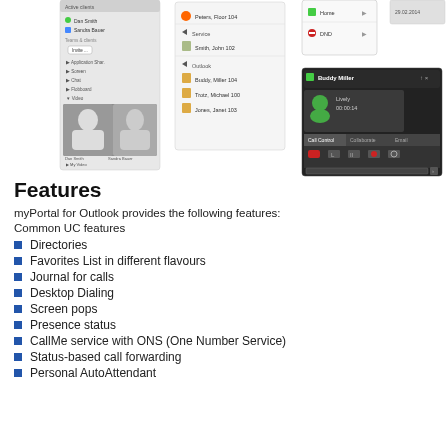[Figure (screenshot): Screenshots of myPortal for Outlook interface showing contact lists, presence status, buddy list with Buddy Miller call control panel, and directory views.]
Features
myPortal for Outlook provides the following features:
Common UC features
Directories
Favorites List in different flavours
Journal for calls
Desktop Dialing
Screen pops
Presence status
CallMe service with ONS (One Number Service)
Status-based call forwarding
Personal AutoAttendant